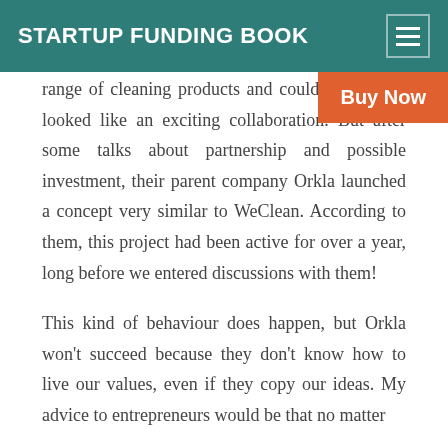STARTUP FUNDING BOOK
range of cleaning products and could cleaners, it looked like an exciting collaboration. But after some talks about partnership and possible investment, their parent company Orkla launched a concept very similar to WeClean. According to them, this project had been active for over a year, long before we entered discussions with them!
This kind of behaviour does happen, but Orkla won't succeed because they don't know how to live our values, even if they copy our ideas. My advice to entrepreneurs would be that no matter